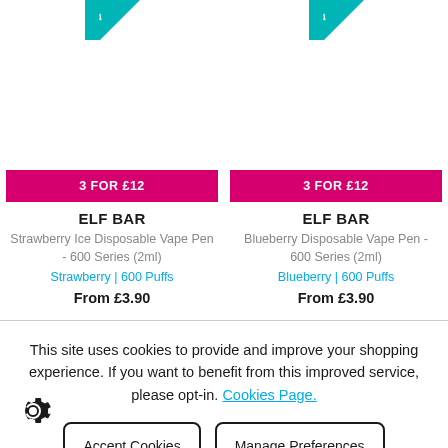[Figure (other): Teal triangular badge/ribbon in top-left corner of left product card]
[Figure (other): Teal triangular badge/ribbon in top-left corner of right product card]
3 FOR £12
ELF BAR
Strawberry Ice Disposable Vape Pen - 600 Series (2ml)
Strawberry | 600 Puffs
From £3.90
3 FOR £12
ELF BAR
Blueberry Disposable Vape Pen - 600 Series (2ml)
Blueberry | 600 Puffs
From £3.90
This site uses cookies to provide and improve your shopping experience. If you want to benefit from this improved service, please opt-in. Cookies Page.
Accept Cookies
Manage Preferences